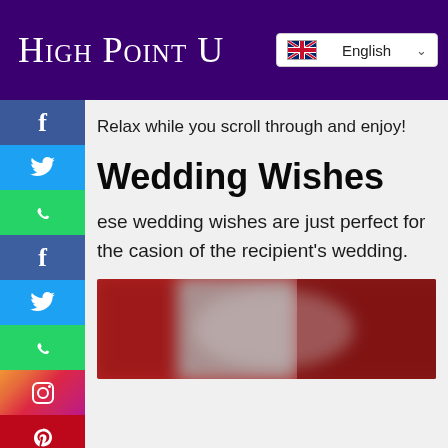High Point U  [English language selector]
Relax while you scroll through and enjoy!
Wedding Wishes
ese wedding wishes are just perfect for the casion of the recipient's wedding.
[Figure (photo): A blurred/out-of-focus photo with red and grey tones, likely a wedding scene.]